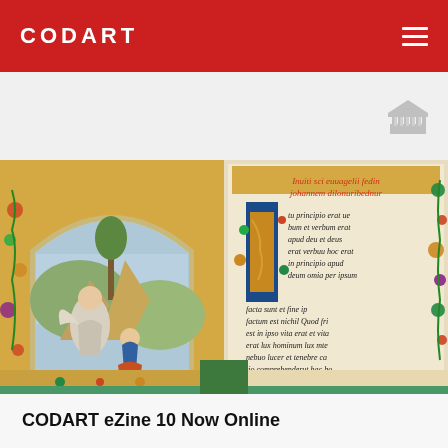CODART
[Figure (illustration): Illuminated medieval manuscript page open to a page showing Saint John on the left side with an angel in a landscape, and decorated text with an ornate illuminated letter I on the right side, surrounded by floral border decorations]
CODART eZine 10 Now Online